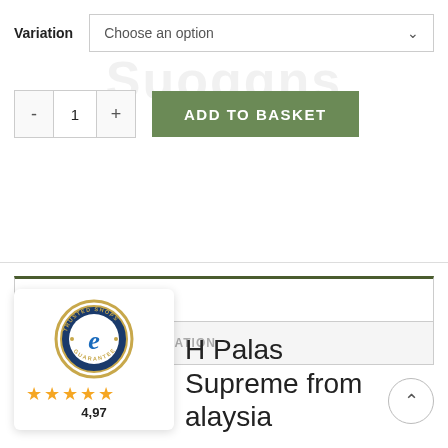Variation
Choose an option
- 1 +
ADD TO BASKET
DESCRIPTION
ADDITIONAL INFORMATION
[Figure (logo): Trusted Shops e Guarantee badge with stars rating 4,97]
H Palas Supreme from
alaysia